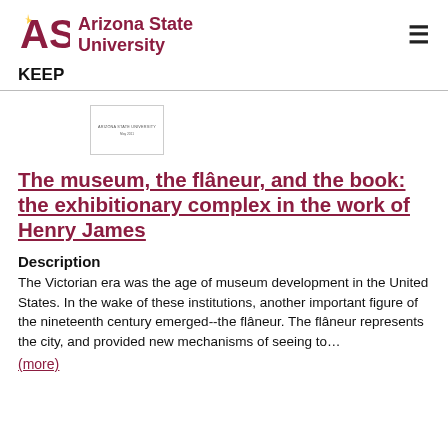Arizona State University — KEEP
[Figure (logo): ASU logo with starburst icon and text 'Arizona State University']
[Figure (screenshot): Small thumbnail of a document with 'Arizona State University' and 'May 2011' text]
The museum, the flâneur, and the book: the exhibitionary complex in the work of Henry James
Description
The Victorian era was the age of museum development in the United States. In the wake of these institutions, another important figure of the nineteenth century emerged--the flâneur. The flâneur represents the city, and provided new mechanisms of seeing to…
(more)